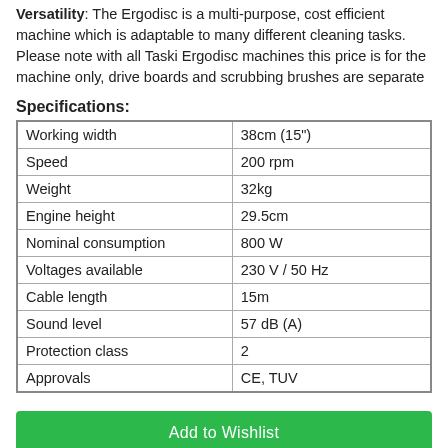Versatility: The Ergodisc is a multi-purpose, cost efficient machine which is adaptable to many different cleaning tasks. Please note with all Taski Ergodisc machines this price is for the machine only, drive boards and scrubbing brushes are separate
Specifications:
| Working width | 38cm (15") |
| Speed | 200 rpm |
| Weight | 32kg |
| Engine height | 29.5cm |
| Nominal consumption | 800 W |
| Voltages available | 230 V / 50 Hz |
| Cable length | 15m |
| Sound level | 57 dB (A) |
| Protection class | 2 |
| Approvals | CE, TUV |
Add to Wishlist